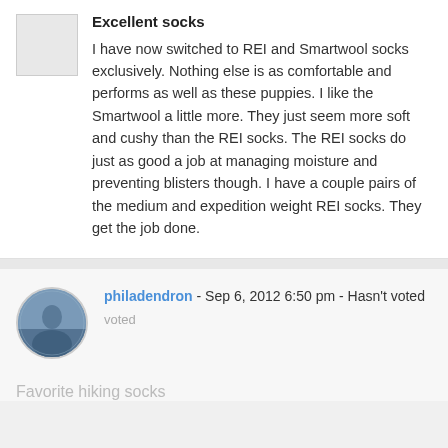[Figure (photo): Small square avatar image, light gray placeholder]
Excellent socks
I have now switched to REI and Smartwool socks exclusively. Nothing else is as comfortable and performs as well as these puppies. I like the Smartwool a little more. They just seem more soft and cushy than the REI socks. The REI socks do just as good a job at managing moisture and preventing blisters though. I have a couple pairs of the medium and expedition weight REI socks. They get the job done.
[Figure (photo): Circular user avatar photo showing outdoor/hiking scene]
philadendron - Sep 6, 2012 6:50 pm - Hasn't voted
Favorite hiking socks